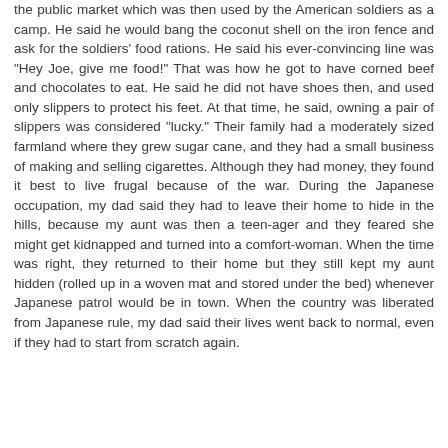the public market which was then used by the American soldiers as a camp. He said he would bang the coconut shell on the iron fence and ask for the soldiers' food rations. He said his ever-convincing line was "Hey Joe, give me food!" That was how he got to have corned beef and chocolates to eat. He said he did not have shoes then, and used only slippers to protect his feet. At that time, he said, owning a pair of slippers was considered "lucky." Their family had a moderately sized farmland where they grew sugar cane, and they had a small business of making and selling cigarettes. Although they had money, they found it best to live frugal because of the war. During the Japanese occupation, my dad said they had to leave their home to hide in the hills, because my aunt was then a teen-ager and they feared she might get kidnapped and turned into a comfort-woman. When the time was right, they returned to their home but they still kept my aunt hidden (rolled up in a woven mat and stored under the bed) whenever Japanese patrol would be in town. When the country was liberated from Japanese rule, my dad said their lives went back to normal, even if they had to start from scratch again.